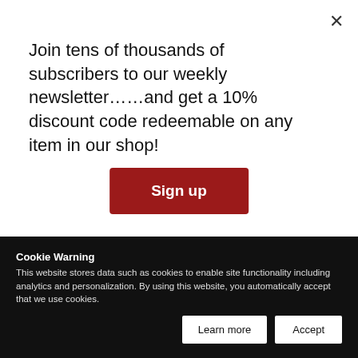Join tens of thousands of subscribers to our weekly newsletter……and get a 10% discount code redeemable on any item in our shop!
Sign up
López Obrador's current approval rate of 66%— according to an opinion poll by El Financiero—is anything to go by, it seems that the plan does have the public's overall support for the time being.
In any case, the project was officially inaugurated on December 16, 2018, barely a fortnight after the president was inaugurated himself. The launching ceremony included a traditional Mayan ritual as a sign of respect for the indigenous people whose name is attached to the p
Cookie Warning
This website stores data such as cookies to enable site functionality including analytics and personalization. By using this website, you automatically accept that we use cookies.
Learn more
Accept
uncertainties on the horizon, it is certain that the project will bring about some investment in real estate across the Yucatán Peninsula